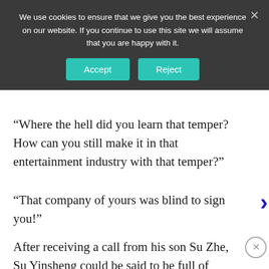We use cookies to ensure that we give you the best experience on our website. If you continue to use this site we will assume that you are happy with it.
“Where the hell did you learn that temper? How can you still make it in that entertainment industry with that temper?”
“That company of yours was blind to sign you!”
After receiving a call from his son Su Zhe, Su Yinsheng could be said to be full of fire, and after a wild spray on the other side of the phone, there was n… Yinshe…